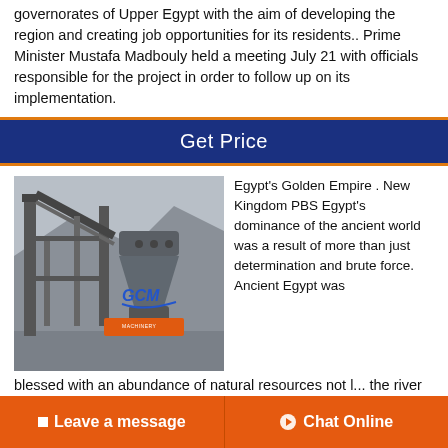governorates of Upper Egypt with the aim of developing the region and creating job opportunities for its residents.. Prime Minister Mustafa Madbouly held a meeting July 21 with officials responsible for the project in order to follow up on its implementation.
Get Price
[Figure (photo): Industrial machinery (cone crusher) with GCM branding, mounted on an orange base, in an outdoor industrial setting with mountains in the background.]
Egypt's Golden Empire . New Kingdom PBS Egypt's dominance of the ancient world was a result of more than just determination and brute force. Ancient Egypt was blessed with an abundance of natural resources not l... the river Nile.
Leave a message   Chat Online